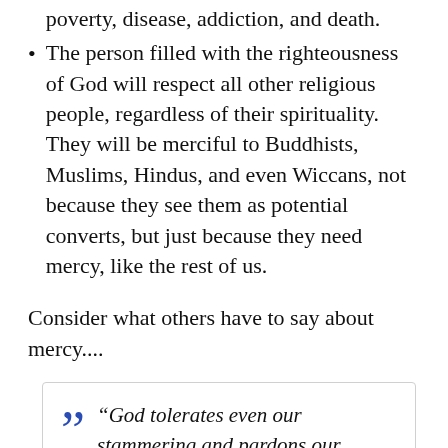poverty, disease, addiction, and death.
The person filled with the righteousness of God will respect all other religious people, regardless of their spirituality. They will be merciful to Buddhists, Muslims, Hindus, and even Wiccans, not because they see them as potential converts, but just because they need mercy, like the rest of us.
Consider what others have to say about mercy....
“God tolerates even our stammering and pardons our ignorance whenever something